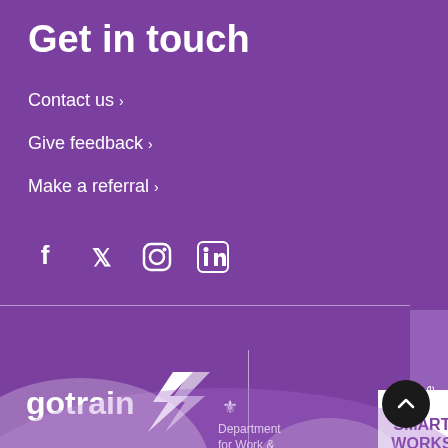Get in touch
Contact us ›
Give feedback ›
Make a referral ›
[Figure (infographic): Social media icons: Facebook, Twitter/X, Instagram, LinkedIn]
[Figure (infographic): Hide Page vertical tab on right side]
Delivery Partners:
[Figure (logo): Department for Work & Pensions crest and text logo]
[Figure (logo): Smart Works logo - white box with purple text reading SMART WORKS]
[Figure (logo): GoTrain logo with lightning bolt]
Signatory Partners:
[Figure (infographic): Scroll to top circular button with upward arrow]